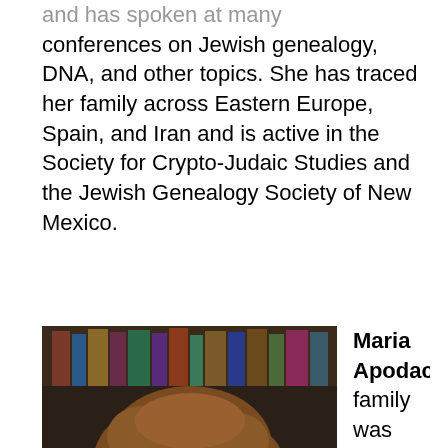and has spoken at many conferences on Jewish genealogy, DNA, and other topics. She has traced her family across Eastern Europe, Spain, and Iran and is active in the Society for Crypto-Judaic Studies and the Jewish Genealogy Society of New Mexico.
[Figure (photo): Headshot photo of Maria Apodaca, a woman with curly brown hair and glasses, wearing a black top, with bookshelves visible in the background.]
Maria Apodaca's family was originally Jewish but forcibly converted to Catholicism before they came to New Mexico in 1598. Maria is the first person in her family to return to Judaism. She is active in the Society for Crypto-Judaic Studies and the Jewish Genealogy Society of New Mexico, is a leader of Casa Sefarad New Mexico, and coordinates events for the annual Festival Djudeo-Epanyol/Resiliencia Event.